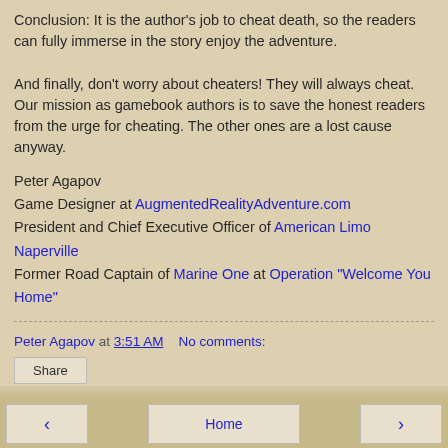Conclusion: It is the author's job to cheat death, so the readers can fully immerse in the story enjoy the adventure.
And finally, don't worry about cheaters! They will always cheat. Our mission as gamebook authors is to save the honest readers from the urge for cheating. The other ones are a lost cause anyway.
Peter Agapov
Game Designer at AugmentedRealityAdventure.com
President and Chief Executive Officer of American Limo Naperville
Former Road Captain of Marine One at Operation "Welcome You Home"
Peter Agapov at 3:51 AM   No comments:
Share
< Home >